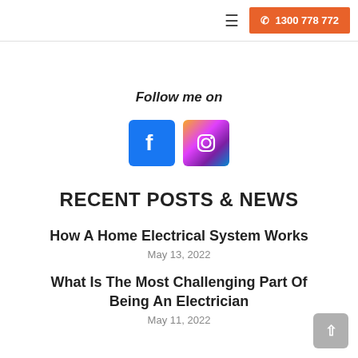≡   1300 778 772
Follow me on
[Figure (illustration): Facebook and Instagram social media icons side by side]
RECENT POSTS & NEWS
How A Home Electrical System Works
May 13, 2022
What Is The Most Challenging Part Of Being An Electrician
May 11, 2022